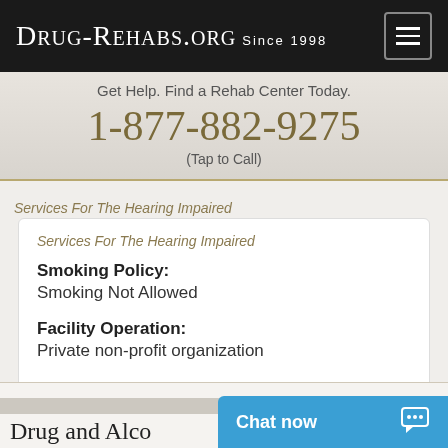Drug-Rehabs.org Since 1998
Get Help. Find a Rehab Center Today.
1-877-882-9275
(Tap to Call)
Services For The Hearing Impaired
Smoking Policy: Smoking Not Allowed
Facility Operation: Private non-profit organization
Drug and Alco
Chat now